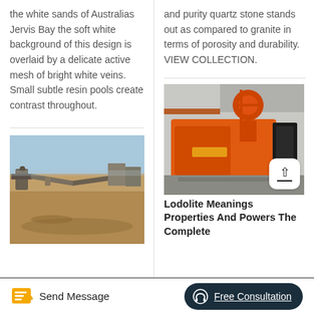the white sands of Australias Jervis Bay the soft white background of this design is overlaid by a delicate active mesh of bright white veins. Small subtle resin pools create contrast throughout.
and purity quartz stone stands out as compared to granite in terms of porosity and durability. VIEW COLLECTION.
[Figure (photo): Outdoor construction or mining site with sandy ground and machinery]
[Figure (photo): Large orange industrial machinery or mining equipment indoors]
Lodolite Meanings Properties And Powers The Complete